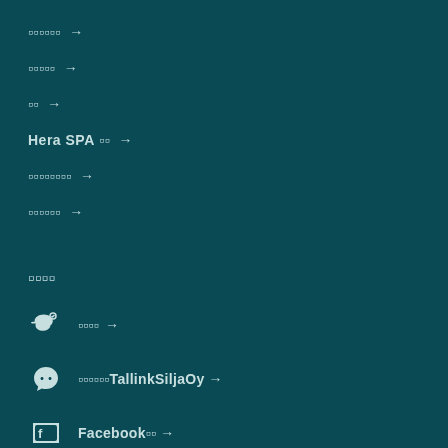oooooo →
ooooo →
oo →
Hera SPA oo →
oooooooo →
oooooo →
oooo
Weibo icon oooo →
WeChat icon ooooooTallinkSiljaOy →
Facebook icon Facebook oo →
Instagram icon Instagram →